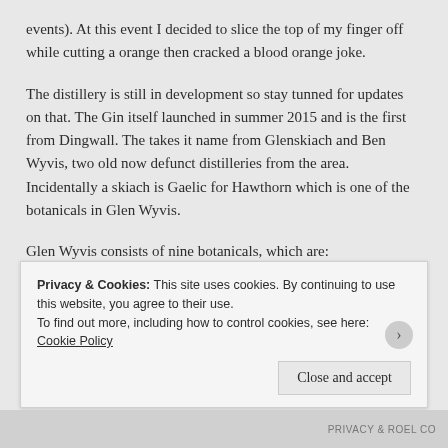events). At this event I decided to slice the top of my finger off while cutting a orange then cracked a blood orange joke.
The distillery is still in development so stay tunned for updates on that. The Gin itself launched in summer 2015 and is the first from Dingwall. The takes it name from Glenskiach and Ben Wyvis, two old now defunct distilleries from the area. Incidentally a skiach is Gaelic for Hawthorn which is one of the botanicals in Glen Wyvis.
Glen Wyvis consists of nine botanicals, which are:
Privacy & Cookies: This site uses cookies. By continuing to use this website, you agree to their use.
To find out more, including how to control cookies, see here: Cookie Policy
Close and accept